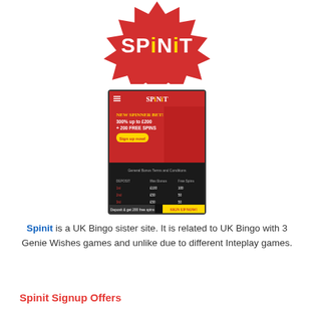[Figure (logo): Spinit casino logo - white stylized text 'SPiNiT' on a red starburst background]
[Figure (screenshot): Mobile screenshot of Spinit casino website showing welcome bonus offer '300% up to £200 + 200 free spins', Sign up now button, and bonus terms table on dark background with yellow SIGN UP NOW button at bottom]
Spinit is a UK Bingo sister site. It is related to UK Bingo with 3 Genie Wishes games and unlike due to different Inteplay games.
Spinit Signup Offers